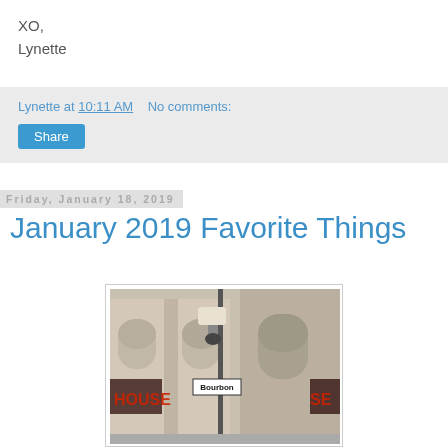XO,
Lynette
Lynette at 10:11 AM    No comments:
Share
Friday, January 18, 2019
January 2019 Favorite Things
[Figure (photo): Street corner photo showing a Bourbon Street sign on a lamp post, with a large beige/tan building with arched windows. Neon signs partially visible on left and right reading 'HOUSE'. The scene appears to be Bourbon Street in New Orleans.]